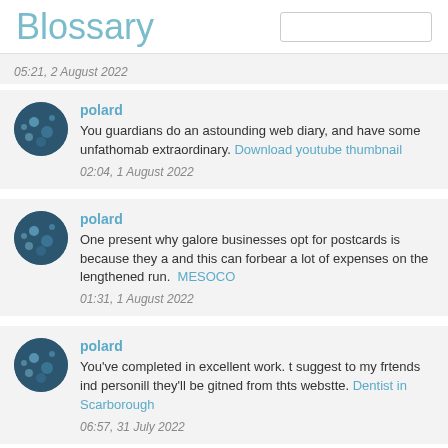Blossary
05:21, 2 August 2022
polard
You guardians do an astounding web diary, and have some unfathomable extraordinary. Download youtube thumbnail
02:04, 1 August 2022
polard
One present why galore businesses opt for postcards is because they a and this can forbear a lot of expenses on the lengthened run. MESOCO
01:31, 1 August 2022
polard
You've completed in excellent work. t suggest to my frtends ind personill they'll be gitned from thts webstte. Dentist in Scarborough
06:57, 31 July 2022